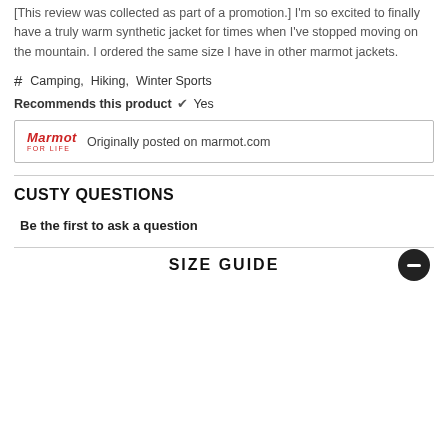[This review was collected as part of a promotion.] I'm so excited to finally have a truly warm synthetic jacket for times when I've stopped moving on the mountain. I ordered the same size I have in other marmot jackets.
# Camping, Hiking, Winter Sports
Recommends this product ✔ Yes
[Figure (logo): Marmot For Life logo with text 'Originally posted on marmot.com']
CUSTY QUESTIONS
Be the first to ask a question
SIZE GUIDE